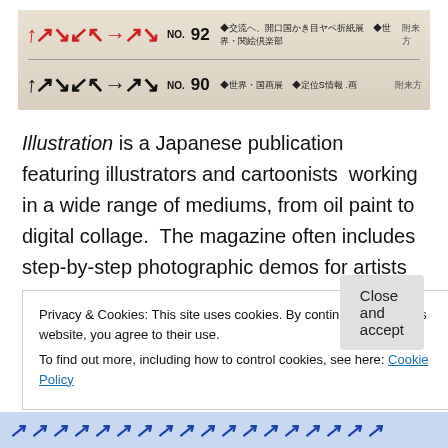[Figure (photo): Two rows of a Japanese magazine (Illustration) showing covers No. 92 and No. 90 with Japanese text and stylized red/black logo.]
Illustration is a Japanese publication featuring illustrators and cartoonists working in a wide range of mediums, from oil paint to digital collage. The magazine often includes step-by-step photographic demos for artists and humorous inserts such as a page featuring the editors in a muscle-flexing contest. We also have two other journals called Illustration, one of which is from England, and the other from the USA. For the Japanese Illustration
Privacy & Cookies: This site uses cookies. By continuing to use this website, you agree to their use.
To find out more, including how to control cookies, see here: Cookie Policy
[Figure (other): Bottom blue decorative banner with stylized Illustration text/logo pattern.]